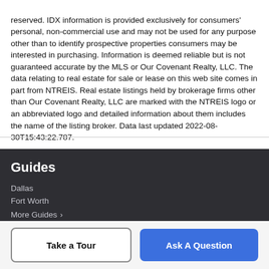reserved. IDX information is provided exclusively for consumers' personal, non-commercial use and may not be used for any purpose other than to identify prospective properties consumers may be interested in purchasing. Information is deemed reliable but is not guaranteed accurate by the MLS or Our Covenant Realty, LLC. The data relating to real estate for sale or lease on this web site comes in part from NTREIS. Real estate listings held by brokerage firms other than Our Covenant Realty, LLC are marked with the NTREIS logo or an abbreviated logo and detailed information about them includes the name of the listing broker. Data last updated 2022-08-30T15:43:22.787.
Guides
Dallas
Fort Worth
More Guides >
Take a Tour
Ask A Question